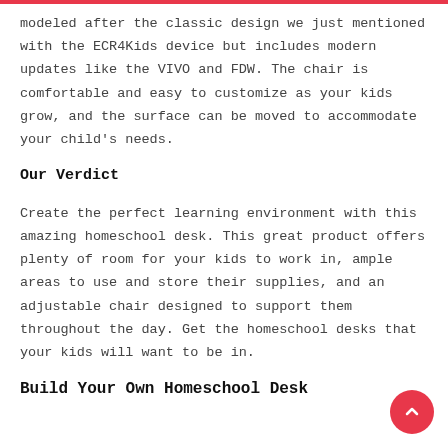modeled after the classic design we just mentioned with the ECR4Kids device but includes modern updates like the VIVO and FDW. The chair is comfortable and easy to customize as your kids grow, and the surface can be moved to accommodate your child's needs.
Our Verdict
Create the perfect learning environment with this amazing homeschool desk. This great product offers plenty of room for your kids to work in, ample areas to use and store their supplies, and an adjustable chair designed to support them throughout the day. Get the homeschool desks that your kids will want to be in.
Build Your Own Homeschool Desk